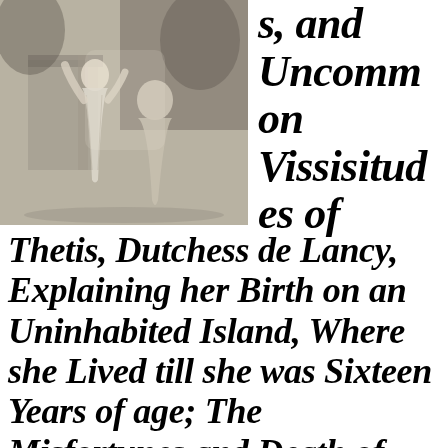[Figure (illustration): A classical engraving showing two robed figures, appearing to be in a dramatic scene near a structure, drawn in a detailed 18th-century style with light and shadow.]
s, and Uncommon Vissisitudes of Thetis, Dutchess de Lancy, Explaining her Birth on an Uninhabited Island, Where she Lived till she was Sixteen Years of age; The Misfortunes and Death of her Parents, and her Surprising Release from that Desolate Place by the Duke de Lancy, to Whom she was